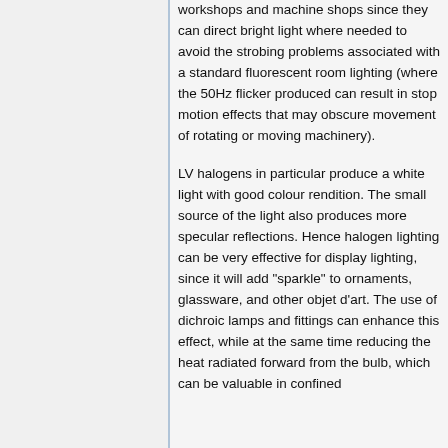workshops and machine shops since they can direct bright light where needed to avoid the strobing problems associated with a standard fluorescent room lighting (where the 50Hz flicker produced can result in stop motion effects that may obscure movement of rotating or moving machinery).
LV halogens in particular produce a white light with good colour rendition. The small source of the light also produces more specular reflections. Hence halogen lighting can be very effective for display lighting, since it will add "sparkle" to ornaments, glassware, and other objet d'art. The use of dichroic lamps and fittings can enhance this effect, while at the same time reducing the heat radiated forward from the bulb, which can be valuable in confined